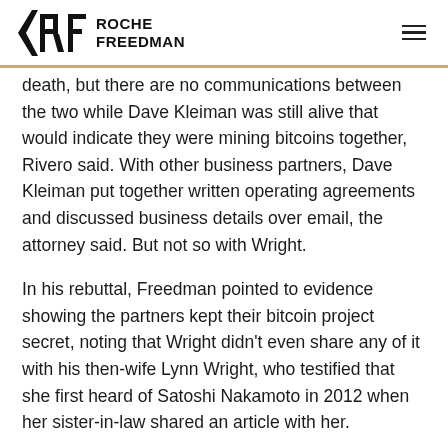ROCHE FREEDMAN
death, but there are no communications between the two while Dave Kleiman was still alive that would indicate they were mining bitcoins together, Rivero said. With other business partners, Dave Kleiman put together written operating agreements and discussed business details over email, the attorney said. But not so with Wright.
In his rebuttal, Freedman pointed to evidence showing the partners kept their bitcoin project secret, noting that Wright didn’t even share any of it with his then-wife Lynn Wright, who testified that she first heard of Satoshi Nakamoto in 2012 when her sister-in-law shared an article with her.
Freedman also played clips of Wright’s deposition